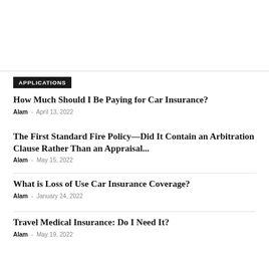APPLICATIONS
How Much Should I Be Paying for Car Insurance?
Alam  -  April 13, 2022
The First Standard Fire Policy—Did It Contain an Arbitration Clause Rather Than an Appraisal...
Alam  -  May 15, 2022
What is Loss of Use Car Insurance Coverage?
Alam  -  January 24, 2022
Travel Medical Insurance: Do I Need It?
Alam  -  May 19, 2022